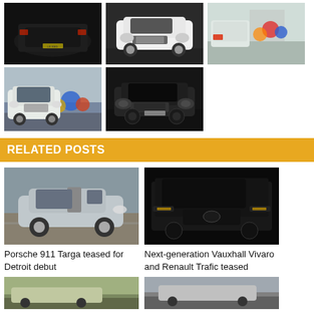[Figure (photo): Dark image of Range Rover rear view]
[Figure (photo): White Range Rover Sport front 3/4 view on dark background]
[Figure (photo): Light blue/white Range Rover rear view in parking lot]
[Figure (photo): White Range Rover front view in industrial setting with colored spheres]
[Figure (photo): Black Range Rover Sport front 3/4 monochrome]
RELATED POSTS
[Figure (photo): Porsche 911 Targa on road, silver]
Porsche 911 Targa teased for Detroit debut
[Figure (photo): Dark van concept - Vauxhall Vivaro / Renault Trafic teaser]
Next-generation Vauxhall Vivaro and Renault Trafic teased
[Figure (photo): Bottom left thumbnail car]
[Figure (photo): Bottom right thumbnail car]